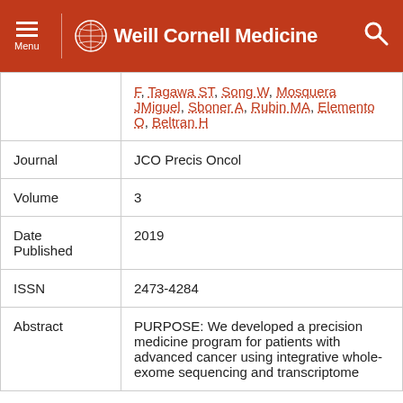Weill Cornell Medicine
| Field | Value |
| --- | --- |
| (Authors continued) | F, Tagawa ST, Song W, Mosquera JMiguel, Sboner A, Rubin MA, Elemento O, Beltran H |
| Journal | JCO Precis Oncol |
| Volume | 3 |
| Date Published | 2019 |
| ISSN | 2473-4284 |
| Abstract | PURPOSE: We developed a precision medicine program for patients with advanced cancer using integrative whole-exome sequencing and transcriptome |